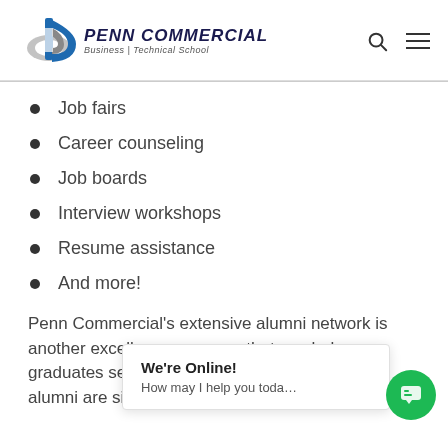[Figure (logo): Penn Commercial Business | Technical School logo with stylized P icon]
Job fairs
Career counseling
Job boards
Interview workshops
Resume assistance
And more!
Penn Commercial's extensive alumni network is another excellence resource that can help graduates secur... Penn Commercial w... graduates alumni are situated across the country and
We're Online! How may I help you toda...